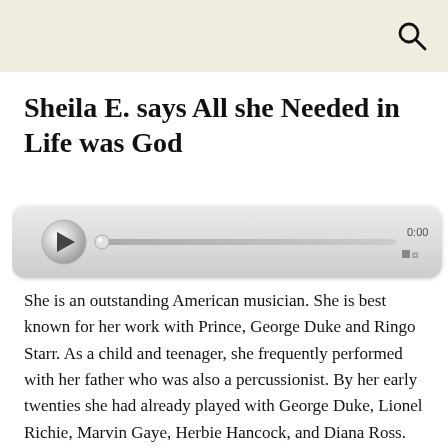Sheila E. says All she Needed in Life was God
[Figure (other): Audio player widget with play button, scrubber track, time display showing 0:00, and volume icon]
She is an outstanding American musician. She is best known for her work with Prince, George Duke and Ringo Starr. As a child and teenager, she frequently performed with her father who was also a percussionist. By her early twenties she had already played with George Duke, Lionel Richie, Marvin Gaye, Herbie Hancock, and Diana Ross. She joined Prince on several Purple Rain recording sessions and served as a writer and musician on many of his records as well. In her own right, she scored hits with “The Glamorous Life”